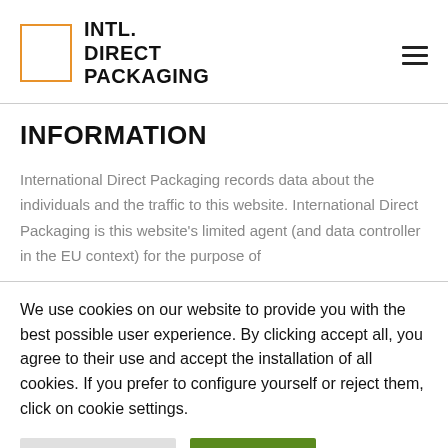[Figure (logo): Intl. Direct Packaging logo: orange square outline with bold uppercase text 'INTL. DIRECT PACKAGING' beside it, and a hamburger menu icon on the right]
INFORMATION
International Direct Packaging records data about the individuals and the traffic to this website. International Direct Packaging is this website's limited agent (and data controller in the EU context) for the purpose of
We use cookies on our website to provide you with the best possible user experience. By clicking accept all, you agree to their use and accept the installation of all cookies. If you prefer to configure yourself or reject them, click on cookie settings.
Cookie Settings | Accept All